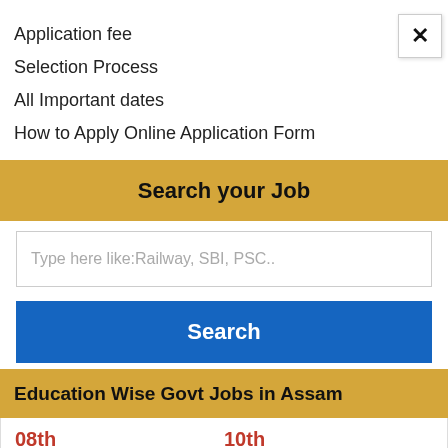Application fee
Selection Process
All Important dates
How to Apply Online Application Form
Search your Job
Type here like:Railway, SBI, PSC..
Search
Education Wise Govt Jobs in Assam
08th
10th